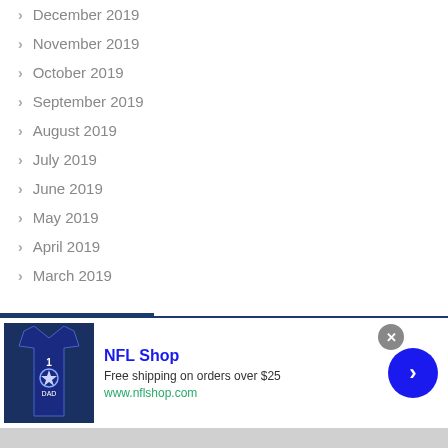December 2019
November 2019
October 2019
September 2019
August 2019
July 2019
June 2019
May 2019
April 2019
March 2019
[Figure (infographic): NFL Shop advertisement banner with jersey image, blue background. Text: NFL Shop, Free shipping on orders over $25, www.nflshop.com]